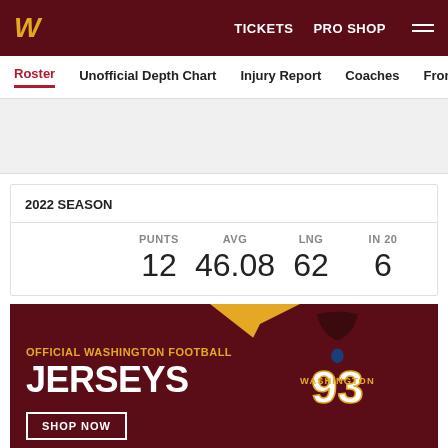W  TICKETS  PRO SHOP
Roster  Unofficial Depth Chart  Injury Report  Coaches  Front O
|  | PUNTS | AVG | LNG | IN 20 |
| --- | --- | --- | --- | --- |
| 2022 SEASON | 12 | 46.08 | 62 | 6 |
[Figure (photo): Official Washington Football Jerseys advertisement with maroon jersey #93 on gold/yellow background. Text: OFFICIAL WASHINGTON FOOTBALL JERSEYS SHOP NOW]